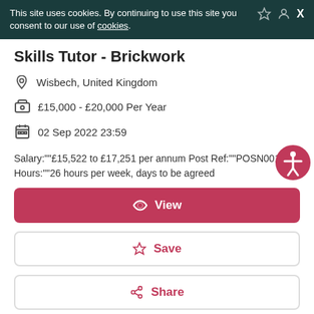This site uses cookies. By continuing to use this site you consent to our use of cookies.
Skills Tutor - Brickwork
Wisbech, United Kingdom
£15,000 - £20,000 Per Year
02 Sep 2022 23:59
Salary:""£15,522 to £17,251 per annum Post Ref:""POSN001399 Hours:""26 hours per week, days to be agreed
View
Save
Share